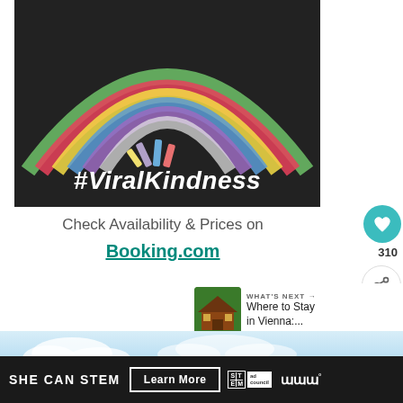[Figure (photo): Chalk rainbow drawn on dark asphalt pavement with chalk sticks visible, and the text '#ViralKindness' in white bold italic at the bottom of the image]
Check Availability & Prices on
Booking.com
[Figure (infographic): Heart/like button showing 310 likes and a share button on the right side]
WHAT'S NEXT → Where to Stay in Vienna:...
[Figure (photo): Thumbnail showing a house/building for 'Where to Stay in Vienna' article]
[Figure (photo): Sky with clouds landscape background]
SHE CAN STEM   Learn More
[Figure (logo): STEM logo and Ad Council logo and Millennial logo in dark bottom banner]